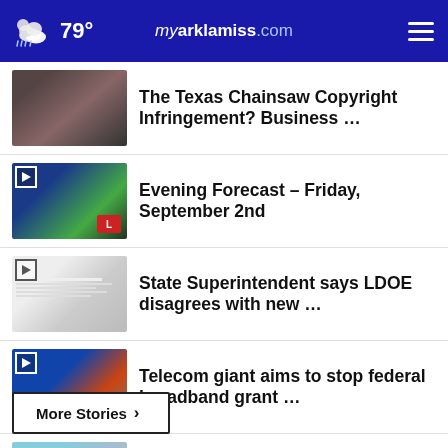79° myarklamiss.com
The Texas Chainsaw Copyright Infringement? Business …
Evening Forecast – Friday, September 2nd
State Superintendent says LDOE disagrees with new …
Telecom giant aims to stop federal broadband grant …
Arkansas ranks low on federal life expectancy charts
More Stories ›